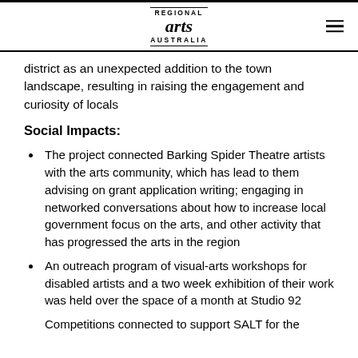REGIONAL arts AUSTRALIA
district as an unexpected addition to the town landscape, resulting in raising the engagement and curiosity of locals
Social Impacts:
The project connected Barking Spider Theatre artists with the arts community, which has lead to them advising on grant application writing; engaging in networked conversations about how to increase local government focus on the arts, and other activity that has progressed the arts in the region
An outreach program of visual-arts workshops for disabled artists and a two week exhibition of their work was held over the space of a month at Studio 92
Competitions connected to support SALT for the...